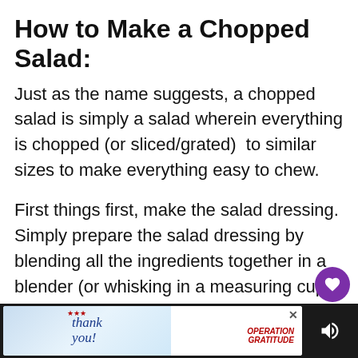How to Make a Chopped Salad:
Just as the name suggests, a chopped salad is simply a salad wherein everything is chopped (or sliced/grated)  to similar sizes to make everything easy to chew.
First things first, make the salad dressing. Simply prepare the salad dressing by blending all the ingredients together in a blender (or whisking in a measuring cup or bowl), then refrigerate it until you're ready to use it. The longer the salad dressing sits, the more flavorful it becomes, so you can make it days in advance if you'd like.
[Figure (infographic): UI overlay: purple heart/save button and share button on right side; 'WHAT'S NEXT' card showing Steak Salad with Berries thumbnail]
[Figure (infographic): Advertisement banner at bottom: 'thank you' patriotic image with Operation Gratitude logo, close button, mute icon]